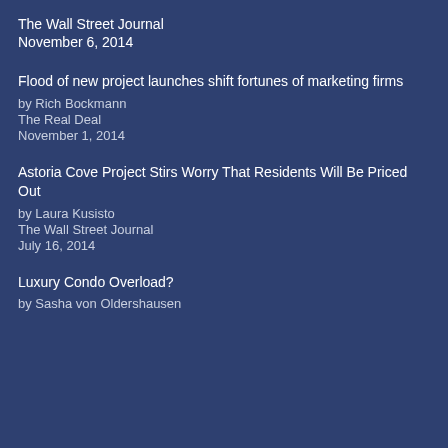The Wall Street Journal
November 6, 2014
Flood of new project launches shift fortunes of marketing firms
by Rich Bockmann
The Real Deal
November 1, 2014
Astoria Cove Project Stirs Worry That Residents Will Be Priced Out
by Laura Kusisto
The Wall Street Journal
July 16, 2014
Luxury Condo Overload?
by Sasha von Oldershausen